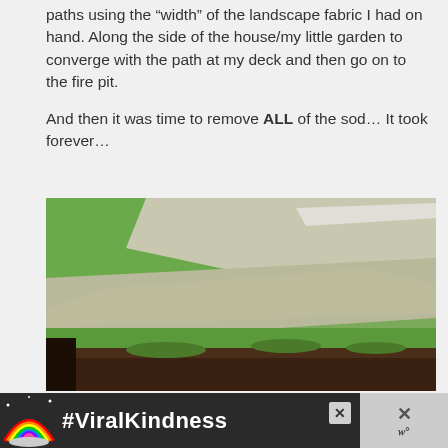paths using the “width” of the landscape fabric I had on hand. Along the side of the house/my little garden to converge with the path at my deck and then go on to the fire pit.

And then it was time to remove ALL of the sod… It took forever…
[Figure (photo): Outdoor garden photo showing a path of bare dirt and sand cutting through green grass, with dark soil visible in the foreground where sod has been removed.]
[Figure (screenshot): Advertisement banner with dark background showing a rainbow graphic on the left and the text #ViralKindness in white bold font, with close buttons on the right side.]